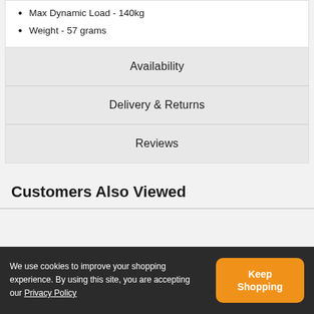Max Dynamic Load - 140kg
Weight - 57 grams
Availability
Delivery & Returns
Reviews
Customers Also Viewed
We use cookies to improve your shopping experience. By using this site, you are accepting our Privacy Policy
Keep Shopping